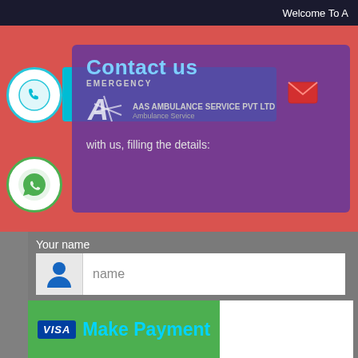Welcome To A
[Figure (screenshot): Contact us form with phone icon, WhatsApp icon, teal call button, purple contact us box with logo overlay, name field, phone field, email field, and Make Payment button]
Contact us
EMERGENCY
AAS AMBULANCE SERVICE PVT LTD
with us, filling the details:
Your name
name
Your phone
phone
Your email
Make Payment